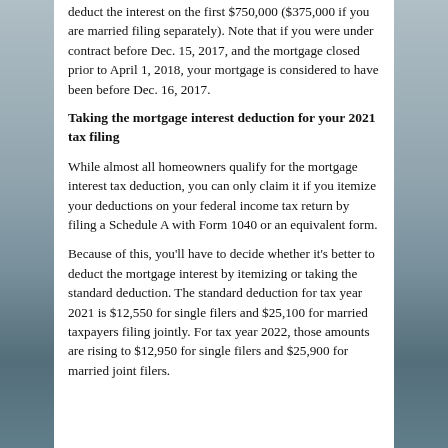deduct the interest on the first $750,000 ($375,000 if you are married filing separately). Note that if you were under contract before Dec. 15, 2017, and the mortgage closed prior to April 1, 2018, your mortgage is considered to have been before Dec. 16, 2017.
Taking the mortgage interest deduction for your 2021 tax filing
While almost all homeowners qualify for the mortgage interest tax deduction, you can only claim it if you itemize your deductions on your federal income tax return by filing a Schedule A with Form 1040 or an equivalent form.
Because of this, you'll have to decide whether it's better to deduct the mortgage interest by itemizing or taking the standard deduction. The standard deduction for tax year 2021 is $12,550 for single filers and $25,100 for married taxpayers filing jointly. For tax year 2022, those amounts are rising to $12,950 for single filers and $25,900 for married joint filers.